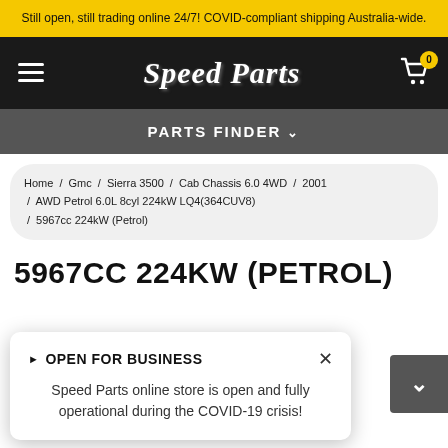Still open, still trading online 24/7! COVID-compliant shipping Australia-wide.
[Figure (logo): Speed Parts logo in gothic/blackletter font on dark navbar with hamburger menu and cart icon]
PARTS FINDER
Home / Gmc / Sierra 3500 / Cab Chassis 6.0 4WD / 2001 / AWD Petrol 6.0L 8cyl 224kW LQ4(364CUV8) / 5967cc 224kW (Petrol)
5967CC 224KW (PETROL)
OPEN FOR BUSINESS
Speed Parts online store is open and fully operational during the COVID-19 crisis!